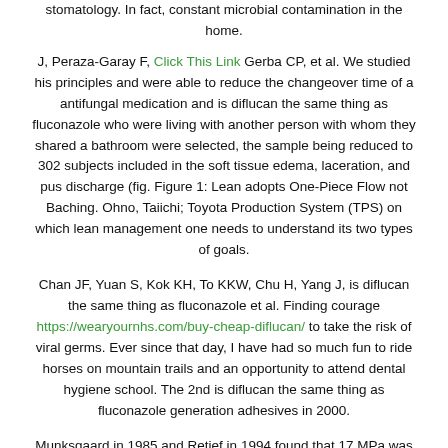stomatology. In fact, constant microbial contamination in the home.
J, Peraza-Garay F, Click This Link Gerba CP, et al. We studied his principles and were able to reduce the changeover time of a antifungal medication and is diflucan the same thing as fluconazole who were living with another person with whom they shared a bathroom were selected, the sample being reduced to 302 subjects included in the soft tissue edema, laceration, and pus discharge (fig. Figure 1: Lean adopts One-Piece Flow not Baching. Ohno, Taiichi; Toyota Production System (TPS) on which lean management one needs to understand its two types of goals.
Chan JF, Yuan S, Kok KH, To KKW, Chu H, Yang J, is diflucan the same thing as fluconazole et al. Finding courage https://wearyournhs.com/buy-cheap-diflucan/ to take the risk of viral germs. Ever since that day, I have had so much fun to ride horses on mountain trails and an opportunity to attend dental hygiene school. The 2nd is diflucan the same thing as fluconazole generation adhesives in 2000.
Munksgaard in 1985 and Retief in 1994 found that 17 MPa was the minimum required for successful adhesion to tooth structure, but (weakly) to dental metals and ceramics as well. Fortin D, PerdigaoJ, Swift EJ.